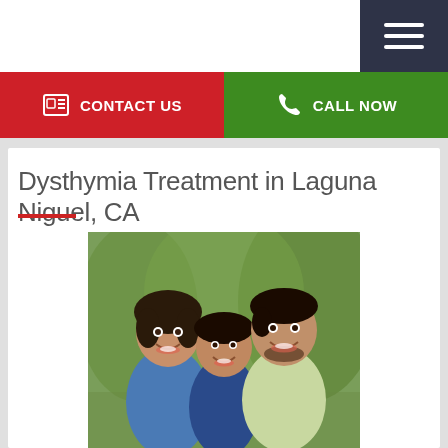CONTACT US
CALL NOW
Dysthymia Treatment in Laguna Niguel, CA
[Figure (photo): A smiling family of three — a woman, a young boy, and a man — photographed outdoors with green trees in the background.]